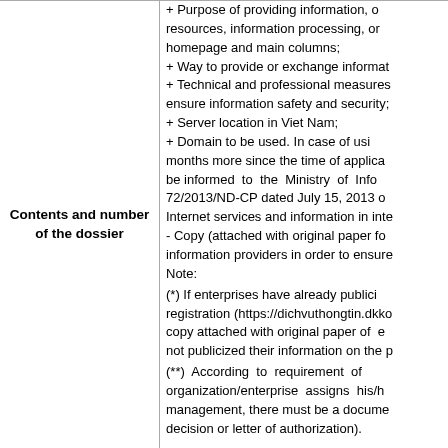Contents and number of the dossier
+ Purpose of providing information, resources, information processing, or homepage and main columns;
+ Way to provide or exchange information;
+ Technical and professional measures to ensure information safety and security;
+ Server location in Viet Nam;
+ Domain to be used. In case of using months more since the time of application, be informed to the Ministry of Information 72/2013/ND-CP dated July 15, 2013 on Internet services and information in internet.
- Copy (attached with original paper for verification) of information providers in order to ensure...
Note:
(*) If enterprises have already publicized registration (https://dichvuthongtin.dkkd...) copy attached with original paper of enterprises not publicized their information on the portal...
(**) According to requirement of management, there must be a document (decision or letter of authorization).

Number of dossier: 01 set
Note: License is not required for following...
According to Clause 1, Article 2, Cir...